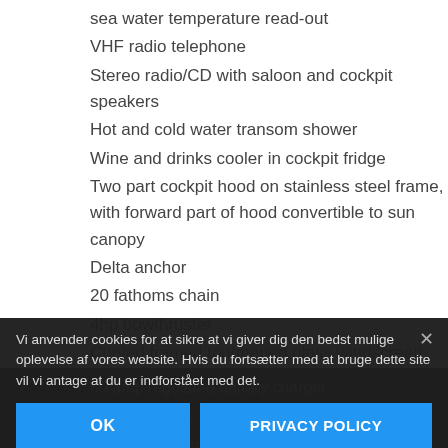sea water temperature read-out
VHF radio telephone
Stereo radio/CD with saloon and cockpit speakers
Hot and cold water transom shower
Wine and drinks cooler in cockpit fridge
Two part cockpit hood on stainless steel frame, with forward part of hood convertible to sun canopy
Delta anchor
20 fathoms chain
4hp bowthruster
Curved framed toughened glass windscreen
50 amp regulated battery charger
Tonneau cover
Hanger for assembled cruising chute and dinghy
Coloured upholstered berths
TV aerial connection
Hullform and Construction
Vi anvender cookies for at sikre at vi giver dig den bedst mulige oplevelse af vores website. Hvis du fortsætter med at bruge dette site vil vi antage at du er indforstået med det.